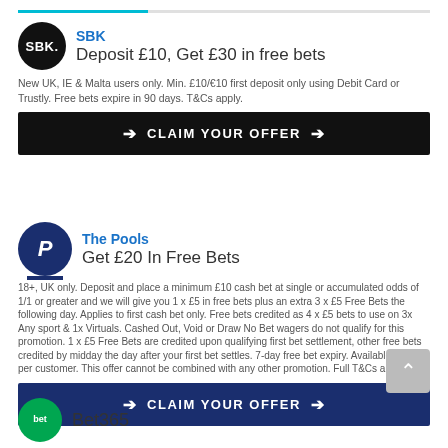[Figure (logo): SBK logo — black circle with SBK text]
SBK
Deposit £10, Get £30 in free bets
New UK, IE & Malta users only. Min. £10/€10 first deposit only using Debit Card or Trustly. Free bets expire in 90 days. T&Cs apply.
CLAIM YOUR OFFER
[Figure (logo): The Pools logo — dark blue circle with P]
The Pools
Get £20 In Free Bets
18+, UK only. Deposit and place a minimum £10 cash bet at single or accumulated odds of 1/1 or greater and we will give you 1 x £5 in free bets plus an extra 3 x £5 Free Bets the following day. Applies to first cash bet only. Free bets credited as 4 x £5 bets to use on 3x Any sport & 1x Virtuals. Cashed Out, Void or Draw No Bet wagers do not qualify for this promotion. 1 x £5 Free Bets are credited upon qualifying first bet settlement, other free bets credited by midday the day after your first bet settles. 7-day free bet expiry. Available once per customer. This offer cannot be combined with any other promotion. Full T&Cs apply.
CLAIM YOUR OFFER
Bet365